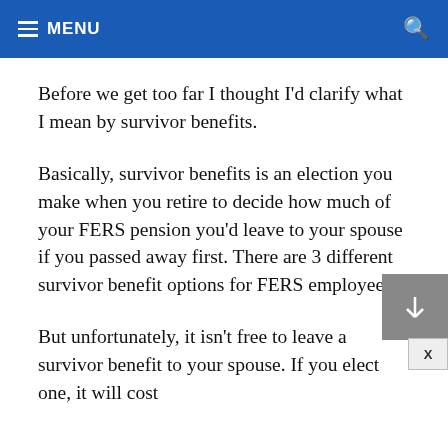MENU
Before we get too far I thought I'd clarify what I mean by survivor benefits.
Basically, survivor benefits is an election you make when you retire to decide how much of your FERS pension you'd leave to your spouse if you passed away first. There are 3 different survivor benefit options for FERS employees.
But unfortunately, it isn't free to leave a survivor benefit to your spouse. If you elect one, it will cost